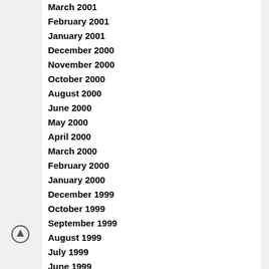March 2001
February 2001
January 2001
December 2000
November 2000
October 2000
August 2000
June 2000
May 2000
April 2000
March 2000
February 2000
January 2000
December 1999
October 1999
September 1999
August 1999
July 1999
June 1999
May 1999
April 1999